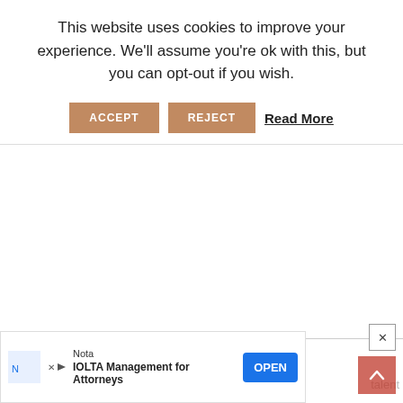This website uses cookies to improve your experience. We'll assume you're ok with this, but you can opt-out if you wish.
ACCEPT  REJECT  Read More
[Figure (screenshot): Cookie consent banner with ACCEPT and REJECT buttons and a Read More link]
Sound
assen
talent
[Figure (screenshot): Advertisement banner: Nota – IOLTA Management for Attorneys with OPEN button]